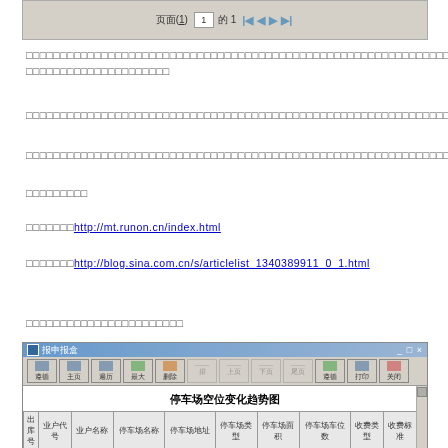[Figure (screenshot): Pagination UI bar showing page navigation controls with 页面(1), input box, 的1, and navigation arrows]
□□□□□□□□□□□□□□□□□□□□□□□□□□□□□□□□□□□□□□□□□□□□□□□□□□□□□□□□□□□□□□□□□□□□□□□□□□□□□□□□□□□□□□□□□□□□□□□□□□□□□□□□□□□□□□□□□□□□□□□□□□□□□□□□□□□□□□□□□□□□□□□□□□□□□□□□□□□□□□□□□□
□□□□□□□□□□□□□□□□□□□□□□□□□□□□□□□□□□□□□□□□□□□□□□□□□□□□□□□□□□□□□□□□□□□
□□□□□□□□□□□□□□□□□□□□□□□□□□□□□□□□□□□□□□□□□□□□□□□□□□□□□□□□□□□□□□□□□□□
□□□□□□□□□
□□□□□□□http://mt.runon.cn/index.html
□□□□□□□http://blog.sina.com.cn/s/articlelist_1340389911_0_1.html
□□□□□□□□□□□□□□□□□□□□□□
[Figure (screenshot): Screenshot of a Chinese software interface showing 停车场空位变化趋势图 (Parking lot vacancy change trend chart) with a data table below containing columns for business account code, business name, parking lot name, parking lot address, parking lot type, parking lot area, parking lot car spaces, fee type, and fee standard]